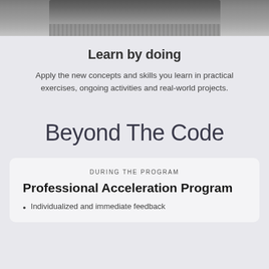[Figure (photo): Partial photo of a laptop with hands, cropped at top of page]
Learn by doing
Apply the new concepts and skills you learn in practical exercises, ongoing activities and real-world projects.
Beyond The Code
DURING THE PROGRAM
Professional Acceleration Program
Individualized and immediate feedback